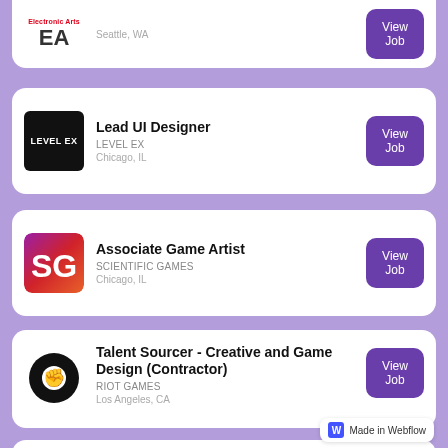EA – Seattle, WA – View Job
Lead UI Designer – LEVEL EX – Chicago, IL – View Job
Associate Game Artist – SCIENTIFIC GAMES – Chicago, IL – View Job
Talent Sourcer - Creative and Game Design (Contractor) – RIOT GAMES – Los Angeles, CA – View Job
Animator – SCIENTIFIC GAMES – View Job